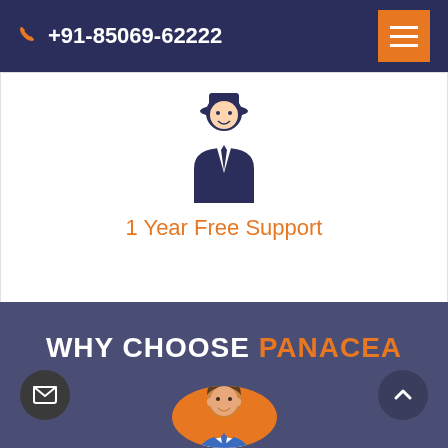+91-85069-62222
[Figure (illustration): Business person / support agent icon in dark navy blue, wearing suit and tie]
1 Year Free Support
WHY CHOOSE PANACEA
[Figure (illustration): Business person avatar in orange circle with blue tie and white shirt]